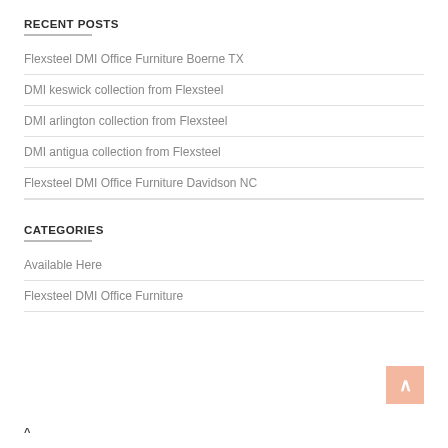RECENT POSTS
Flexsteel DMI Office Furniture Boerne TX
DMI keswick collection from Flexsteel
DMI arlington collection from Flexsteel
DMI antigua collection from Flexsteel
Flexsteel DMI Office Furniture Davidson NC
CATEGORIES
Available Here
Flexsteel DMI Office Furniture